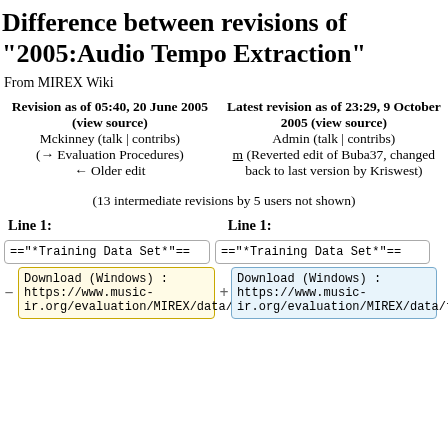Difference between revisions of "2005:Audio Tempo Extraction"
From MIREX Wiki
| Left | Right |
| --- | --- |
| Revision as of 05:40, 20 June 2005 (view source)
Mckinney (talk | contribs)
(→Evaluation Procedures)
← Older edit | Latest revision as of 23:29, 9 October 2005 (view source)
Admin (talk | contribs)
m (Reverted edit of Buba37, changed back to last version by Kriswest) |
(13 intermediate revisions by 5 users not shown)
Line 1: Line 1:
=="*Training Data Set*"==  =="*Training Data Set*"==
Download (Windows) :
https://www.music-ir.org/evaluation/MIREX/data/te
Download (Windows) :
https://www.music-ir.org/evaluation/MIREX/data/te